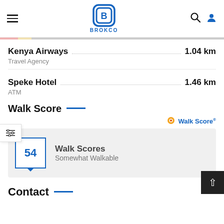BROKCO
Kenya Airways  1.04 km
Travel Agency
Speke Hotel  1.46 km
ATM
Walk Score
[Figure (infographic): Walk Score badge showing score of 54 and label 'Somewhat Walkable' with Walk Score logo]
Contact